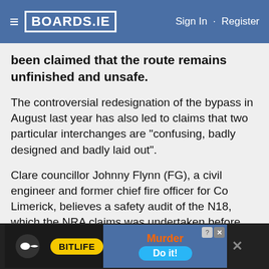BOARDS.IE  Sign In · Register
been claimed that the route remains unfinished and unsafe.
The controversial redesignation of the bypass in August last year has also led to claims that two particular interchanges are "confusing, badly designed and badly laid out".
Clare councillor Johnny Flynn (FG), a civil engineer and former chief fire officer for Co Limerick, believes a safety audit of the N18, which the NRA claims was undertaken before the route was upgraded to motorway, was not adequate and that the motorway remains "unfinished".
[Figure (screenshot): BitLife advertisement banner at the bottom of the page reading 'Murder Do it!']